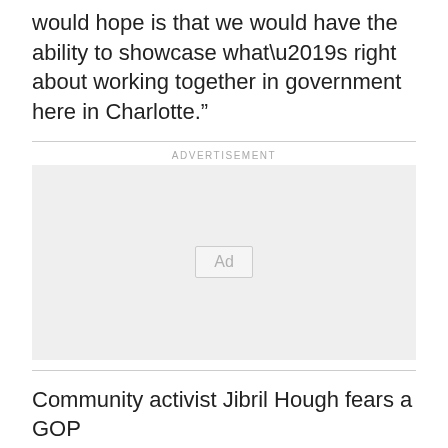would hope is that we would have the ability to showcase what’s right about working together in government here in Charlotte.”
[Figure (other): Advertisement placeholder box with 'Ad' label in center]
Community activist Jibril Hough fears a GOP